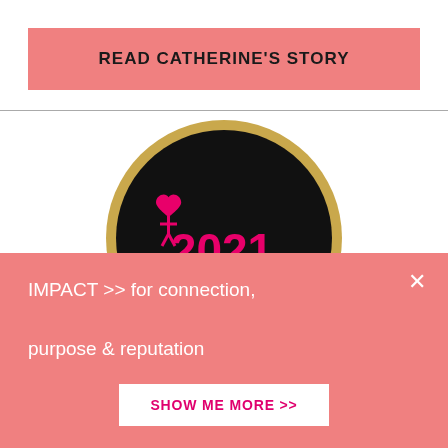READ CATHERINE'S STORY
[Figure (logo): Circular black badge with gold border showing '2021 mum preneur' text and pink heart/figure icon]
IMPACT >> for connection, purpose & reputation
SHOW ME MORE >>